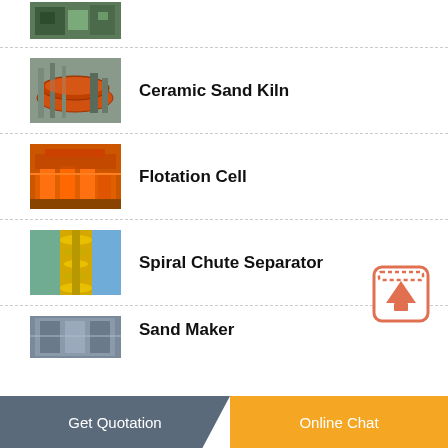[Figure (photo): Partial view of industrial machinery, green/dark colored equipment]
[Figure (photo): Ceramic Sand Kiln - orange rotating kiln machinery with pipe supports]
Ceramic Sand Kiln
[Figure (photo): Flotation Cell - orange flotation equipment machinery]
Flotation Cell
[Figure (photo): Spiral Chute Separator - yellow/gold colored spiral separator against blue sky]
Spiral Chute Separator
[Figure (photo): Sand Maker - industrial building/equipment, partially visible]
Sand Maker
Get Quotation | Online Chat